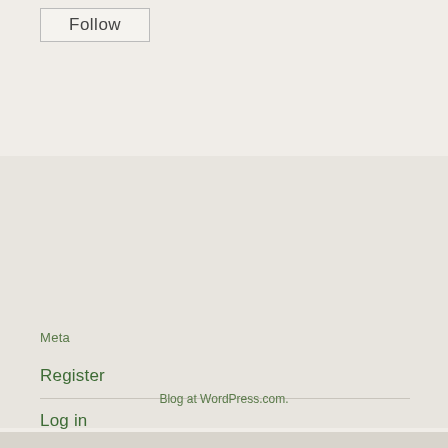[Figure (screenshot): Follow button widget with border]
Meta
Register
Log in
Entries feed
Comments feed
WordPress.com
Blog at WordPress.com.